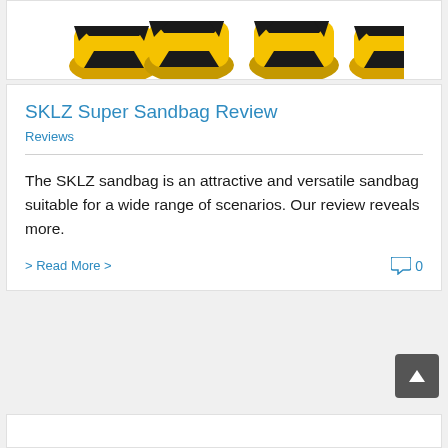[Figure (photo): Yellow and black SKLZ sandbags, four bags shown in a row against a white background]
SKLZ Super Sandbag Review
Reviews
The SKLZ sandbag is an attractive and versatile sandbag suitable for a wide range of scenarios. Our review reveals more.
> Read More >
0